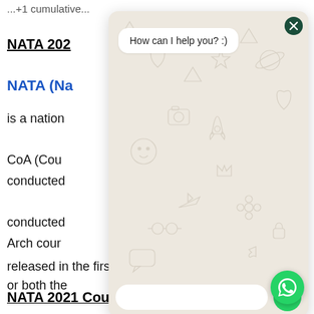...
NATA 2021 ...
NATA (Na...
is a nation... CoA (Cou... conducted... conducted... Arch cours... or both the... application... released in the first week of February.
[Figure (screenshot): WhatsApp chat widget overlay showing 'How can I help you? :)' message bubble, a text input bar, and a green send button, overlaid on top of the document content. A decorative WhatsApp-themed doodle background appears behind the bubble. A close (X) button appears in the top right of the widget.]
NATA 2021 Counselling: